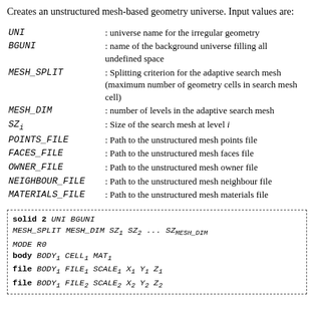Creates an unstructured mesh-based geometry universe. Input values are:
UNI : universe name for the irregular geometry
BGUNI : name of the background universe filling all undefined space
MESH_SPLIT : Splitting criterion for the adaptive search mesh (maximum number of geometry cells in search mesh cell)
MESH_DIM : number of levels in the adaptive search mesh
SZ_i : Size of the search mesh at level i
POINTS_FILE : Path to the unstructured mesh points file
FACES_FILE : Path to the unstructured mesh faces file
OWNER_FILE : Path to the unstructured mesh owner file
NEIGHBOUR_FILE : Path to the unstructured mesh neighbour file
MATERIALS_FILE : Path to the unstructured mesh materials file
[Figure (other): Code block showing solid 2 UNI BGUNI / MESH_SPLIT MESH_DIM SZ1 SZ2 ... SZ_MESH_DIM / MODE R0 / body BODY1 CELL1 MAT1 / file BODY1 FILE1 SCALE1 X1 Y1 Z1 / file BODY1 FILE2 SCALE2 X2 Y2 Z2]